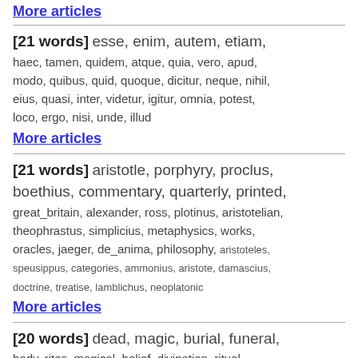More articles
[21 words] esse, enim, autem, etiam, haec, tamen, quidem, atque, quia, vero, apud, modo, quibus, quid, quoque, dicitur, neque, nihil, eius, quasi, inter, videtur, igitur, omnia, potest, loco, ergo, nisi, unde, illud
More articles
[21 words] aristotle, porphyry, proclus, boethius, commentary, quarterly, printed, great_britain, alexander, ross, plotinus, aristotelian, theophrastus, simplicius, metaphysics, works, oracles, jaeger, de_anima, philosophy, aristoteles, speusippus, categories, ammonius, aristote, damascius, doctrine, treatise, lamblichus, neoplatonic
More articles
[20 words] dead, magic, burial, funeral, body, rites, magical, belief, divination, ritual, custom, tomb, buried, omen, corpse, power, omens, frazer, superstition, rite, cremation, bones, spirits, gods, practices, religious, deceased, lupercalia, funerary, romans
More articles